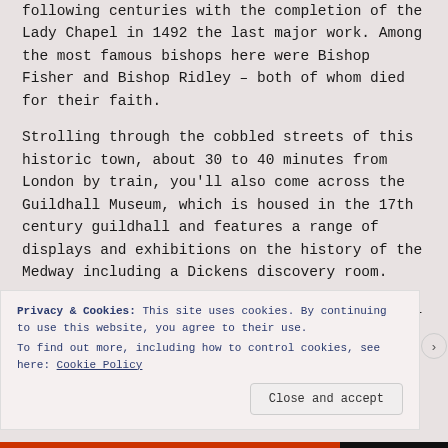following centuries with the completion of the Lady Chapel in 1492 the last major work. Among the most famous bishops here were Bishop Fisher and Bishop Ridley – both of whom died for their faith.
Strolling through the cobbled streets of this historic town, about 30 to 40 minutes from London by train, you'll also come across the Guildhall Museum, which is housed in the 17th century guildhall and features a range of displays and exhibitions on the history of the Medway including a Dickens discovery room.
Also worth seeing is Eastgate House, the model for
Privacy & Cookies: This site uses cookies. By continuing to use this website, you agree to their use.
To find out more, including how to control cookies, see here: Cookie Policy